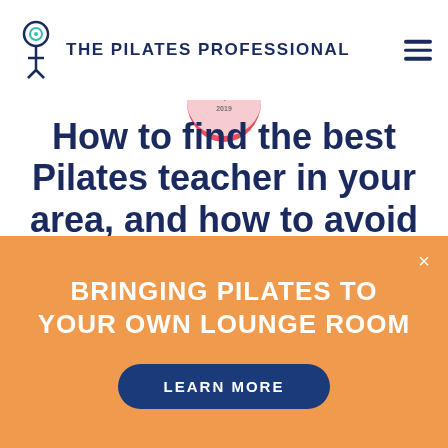THE PILATES PROFESSIONAL
How to find the best Pilates teacher in your area, and how to avoid the rest.
THEPILATESPROFESSIONAL / Healing Uncategorized / 0
BRINGING PILATES TO YOUR OWN LOUNGE ROOM
LEARN MORE